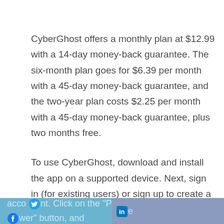CyberGhost offers a monthly plan at $12.99 with a 14-day money-back guarantee. The six-month plan goes for $6.39 per month with a 45-day money-back guarantee, and the two-year plan costs $2.25 per month with a 45-day money-back guarantee, plus two months free.
To use CyberGhost, download and install the app on a supported device. Next, sign in (for existing users) or sign up to create a new account. Click on the "Power" button, and the
account. Click on the "Power" button, and the